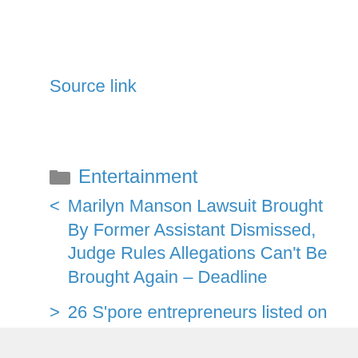Source link
Entertainment
Marilyn Manson Lawsuit Brought By Former Assistant Dismissed, Judge Rules Allegations Can't Be Brought Again – Deadline
26 S'pore entrepreneurs listed on Forbes 30 Under 30 Asia list for 2022